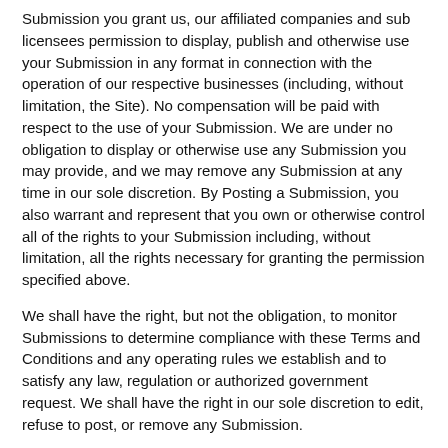Submission you grant us, our affiliated companies and sub licensees permission to display, publish and otherwise use your Submission in any format in connection with the operation of our respective businesses (including, without limitation, the Site). No compensation will be paid with respect to the use of your Submission. We are under no obligation to display or otherwise use any Submission you may provide, and we may remove any Submission at any time in our sole discretion. By Posting a Submission, you also warrant and represent that you own or otherwise control all of the rights to your Submission including, without limitation, all the rights necessary for granting the permission specified above.
We shall have the right, but not the obligation, to monitor Submissions to determine compliance with these Terms and Conditions and any operating rules we establish and to satisfy any law, regulation or authorized government request. We shall have the right in our sole discretion to edit, refuse to post, or remove any Submission.
Trademarks
Global Academy for Medical Education and Skin Disease Education Foundation are registered trademarks of Frontline Medical Communications Medical Information, LLC. All other trademarks appearing on this Site are the property of their respective owners.
Links to Other Sites